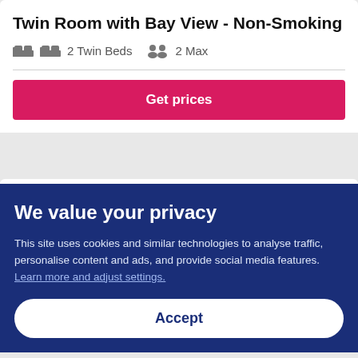Twin Room with Bay View - Non-Smoking
2 Twin Beds  2 Max
Get prices
Run of House Room
We value your privacy
This site uses cookies and similar technologies to analyse traffic, personalise content and ads, and provide social media features. Learn more and adjust settings.
Accept